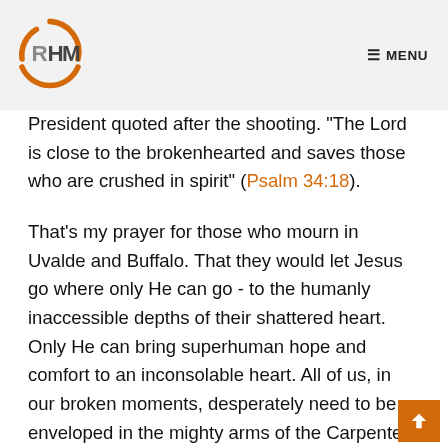RHM MENU
President quoted after the shooting. "The Lord is close to the brokenhearted and saves those who are crushed in spirit" (Psalm 34:18).
That's my prayer for those who mourn in Uvalde and Buffalo. That they would let Jesus go where only He can go - to the humanly inaccessible depths of their shattered heart. Only He can bring superhuman hope and comfort to an inconsolable heart. All of us, in our broken moments, desperately need to be enveloped in the mighty arms of the Carpenter of Nazareth. To be hugged by